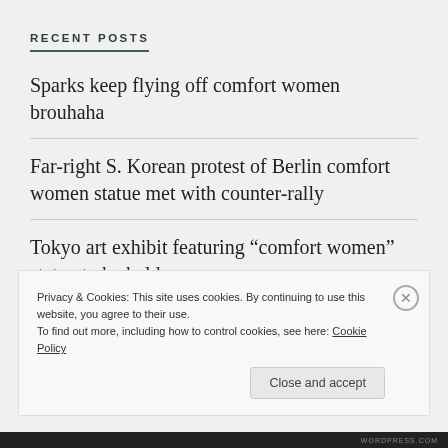RECENT POSTS
Sparks keep flying off comfort women brouhaha
Far-right S. Korean protest of Berlin comfort women statue met with counter-rally
Tokyo art exhibit featuring “comfort women” statue to be held
HerStory Video Indonesian Translation 2
HerStory Video Indonesian Translation
Privacy & Cookies: This site uses cookies. By continuing to use this website, you agree to their use.
To find out more, including how to control cookies, see here: Cookie Policy
Close and accept